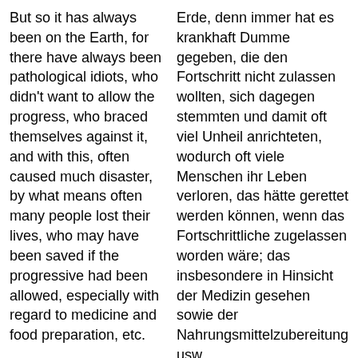But so it has always been on the Earth, for there have always been pathological idiots, who didn't want to allow the progress, who braced themselves against it, and with this, often caused much disaster, by what means often many people lost their lives, who may have been saved if the progressive had been allowed, especially with regard to medicine and food preparation, etc.
Erde, denn immer hat es krankhaft Dumme gegeben, die den Fortschritt nicht zulassen wollten, sich dagegen stemmten und damit oft viel Unheil anrichteten, wodurch oft viele Menschen ihr Leben verloren, das hätte gerettet werden können, wenn das Fortschrittliche zugelassen worden wäre; das insbesondere in Hinsicht der Medizin gesehen sowie der Nahrungsmittelzubereitung usw.
Quetzal:
Quetzal: